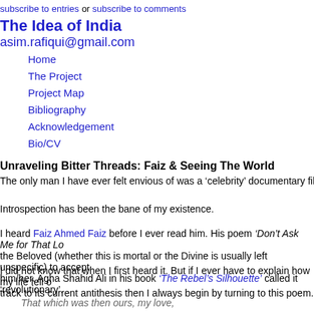subscribe to entries or subscribe to comments
The Idea of India
asim.rafiqui@gmail.com
Home
The Project
Project Map
Bibliography
Acknowledgement
Bio/CV
Unraveling Bitter Threads: Faiz & Seeing The World
The only man I have ever felt envious of was a ‘celebrity’ documentary filmmaker wh…
Introspection has been the bane of my existence.
I heard Faiz Ahmed Faiz before I ever read him. His poem ‘Don’t Ask Me for That Lo… the Beloved (whether this is mortal or the Divine is usually left unspecific) to accept… him/her. Agha Shahid Ali in his book ‘The Rebel’s Silhouette’ called it ‘revolutionary’.
I did not know that when I first heard it. But if I ever have to explain how my life fell o… track to its current antithesis then I always begin by turning to this poem.
That which was then ours, my love,